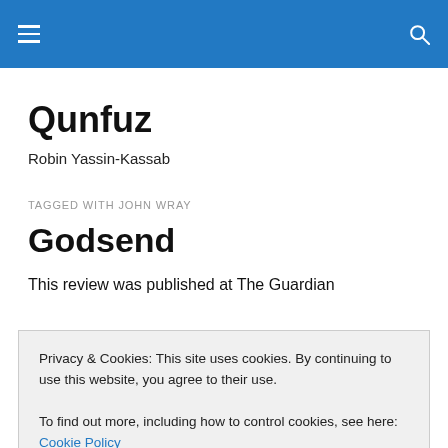Qunfuz — navigation bar with hamburger menu and search icon
Qunfuz
Robin Yassin-Kassab
TAGGED WITH JOHN WRAY
Godsend
This review was published at The Guardian
Privacy & Cookies: This site uses cookies. By continuing to use this website, you agree to their use.
To find out more, including how to control cookies, see here: Cookie Policy
Close and accept